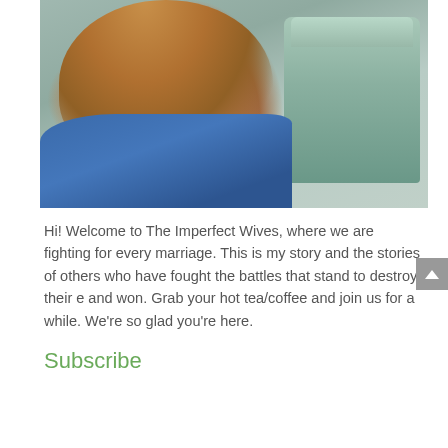[Figure (photo): Portrait photo of a smiling woman with medium-length auburn/blonde hair, wearing a blue ruffled top and pearl necklace. Background includes a mint-green vintage post box.]
Hi! Welcome to The Imperfect Wives, where we are fighting for every marriage. This is my story and the stories of others who have fought the battles that stand to destroy their e and won. Grab your hot tea/coffee and join us for a while. We're so glad you're here.
Subscribe